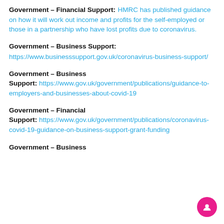Government – Financial Support: HMRC has published guidance on how it will work out income and profits for the self-employed or those in a partnership who have lost profits due to coronavirus.
Government – Business Support:
https://www.businesssupport.gov.uk/coronavirus-business-support/
Government – Business Support:
https://www.gov.uk/government/publications/guidance-to-employers-and-businesses-about-covid-19
Government – Financial Support:
https://www.gov.uk/government/publications/coronavirus-covid-19-guidance-on-business-support-grant-funding
Government – Business